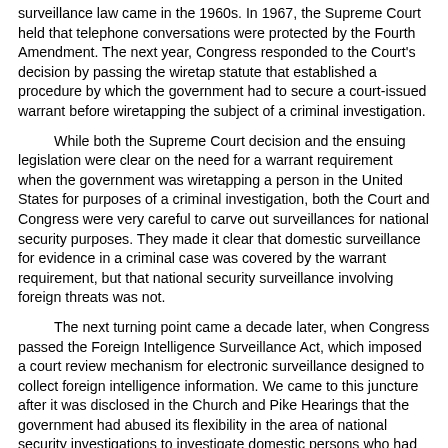surveillance law came in the 1960s. In 1967, the Supreme Court held that telephone conversations were protected by the Fourth Amendment. The next year, Congress responded to the Court's decision by passing the wiretap statute that established a procedure by which the government had to secure a court-issued warrant before wiretapping the subject of a criminal investigation.
While both the Supreme Court decision and the ensuing legislation were clear on the need for a warrant requirement when the government was wiretapping a person in the United States for purposes of a criminal investigation, both the Court and Congress were very careful to carve out surveillances for national security purposes. They made it clear that domestic surveillance for evidence in a criminal case was covered by the warrant requirement, but that national security surveillance involving foreign threats was not.
The next turning point came a decade later, when Congress passed the Foreign Intelligence Surveillance Act, which imposed a court review mechanism for electronic surveillance designed to collect foreign intelligence information. We came to this juncture after it was disclosed in the Church and Pike Hearings that the government had abused its flexibility in the area of national security investigations to investigate domestic persons who had no connection to a foreign power. After those disclosures, Congress and the country were understandably looking for a way to ensure that the executive branch could no longer invade their privacy under the guise of protecting against foreign threats. The result was legislation that subjected our foreign intelligence surveillances to court review.